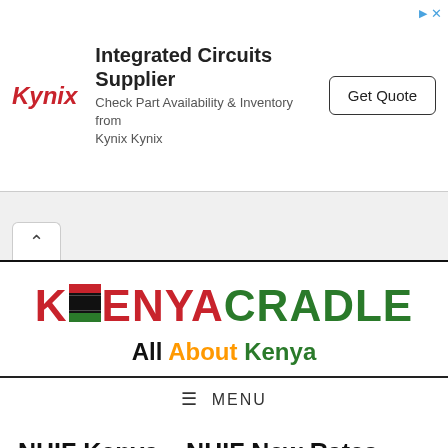[Figure (other): Kynix Integrated Circuits Supplier advertisement banner with logo, text, and Get Quote button]
[Figure (logo): KenyaCradle logo with Kenyan flag stripes integrated into the letter E, and tagline 'All About Kenya']
≡ MENU
NHIF Kenya – NHIF New Rates, Forms, Hospitals, Contacts and Website www.nhif.or.ke